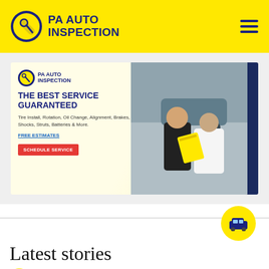PA AUTO INSPECTION
[Figure (screenshot): PA Auto Inspection banner ad showing logo, headline 'THE BEST SERVICE GUARANTEED', service list, FREE ESTIMATES link, SCHEDULE SERVICE button, and photo of mechanic with customer]
[Figure (other): Yellow circle with car icon used as a section divider decoration]
Latest stories
[Figure (other): Yellow circle with share/arrow icon for story]
Mass Airflow Sensor: A Basic Troubleshooting Guide